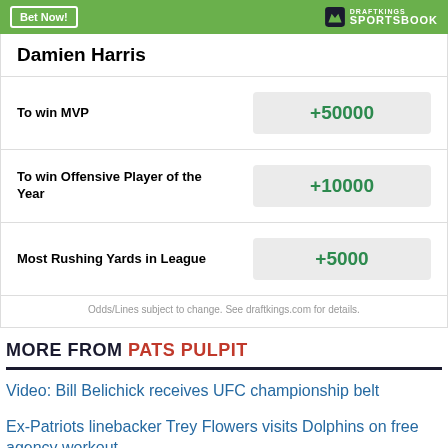[Figure (logo): DraftKings Sportsbook banner with green background, 'Bet Now!' button and DraftKings Sportsbook logo]
Damien Harris
| Bet Type | Odds |
| --- | --- |
| To win MVP | +50000 |
| To win Offensive Player of the Year | +10000 |
| Most Rushing Yards in League | +5000 |
Odds/Lines subject to change. See draftkings.com for details.
MORE FROM PATS PULPIT
Video: Bill Belichick receives UFC championship belt
Ex-Patriots linebacker Trey Flowers visits Dolphins on free agency workout